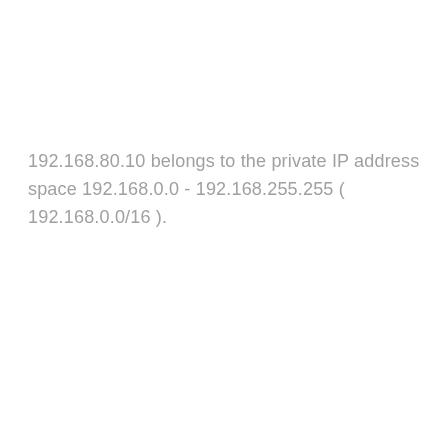192.168.80.10 belongs to the private IP address space 192.168.0.0 - 192.168.255.255 ( 192.168.0.0/16 ).